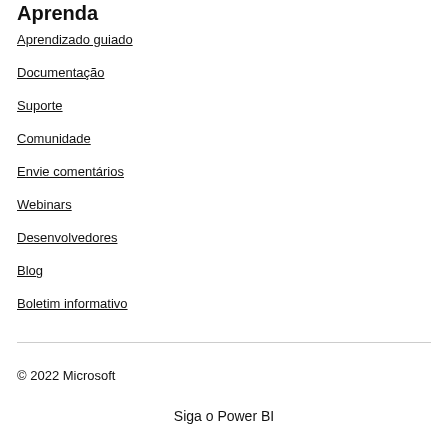Aprenda
Aprendizado guiado
Documentação
Suporte
Comunidade
Envie comentários
Webinars
Desenvolvedores
Blog
Boletim informativo
© 2022 Microsoft
Siga o Power BI